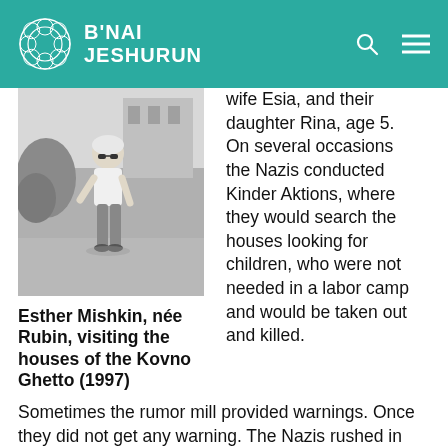B'NAI JESHURUN
[Figure (photo): Black and white photograph of Esther Mishkin, née Rubin, standing outdoors in a ghetto setting.]
Esther Mishkin, née Rubin, visiting the houses of the Kovno Ghetto (1997)
wife Esia, and their daughter Rina, age 5. On several occasions the Nazis conducted Kinder Aktions, where they would search the houses looking for children, who were not needed in a labor camp and would be taken out and killed.
Sometimes the rumor mill provided warnings. Once they did not get any warning. The Nazis rushed in